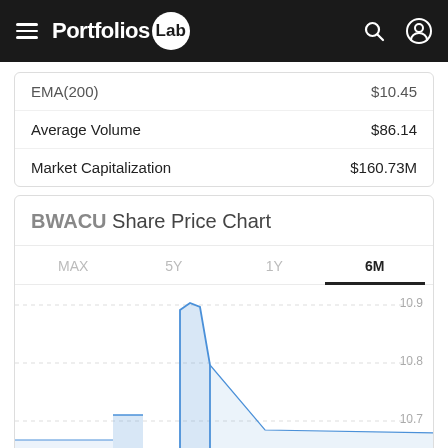Portfolios Lab
|  |  |
| --- | --- |
| EMA(200) | $10.45 |
| Average Volume | $86.14 |
| Market Capitalization | $160.73M |
BWACU Share Price Chart
[Figure (area-chart): Share price area chart for BWACU showing 6M period. Y-axis range approximately 10.7 to 10.9. Chart shows price spike around center with values near 10.85, and partial bars visible at bottom edge.]